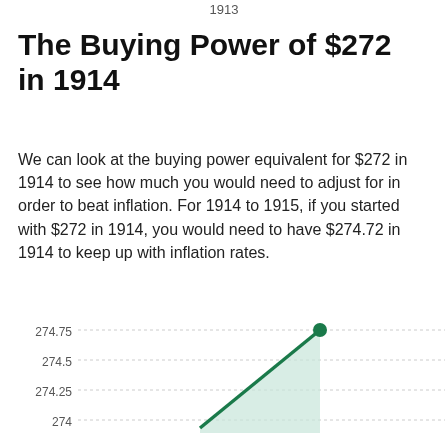1913
The Buying Power of $272 in 1914
We can look at the buying power equivalent for $272 in 1914 to see how much you would need to adjust for in order to beat inflation. For 1914 to 1915, if you started with $272 in 1914, you would need to have $274.72 in 1914 to keep up with inflation rates.
[Figure (line-chart): Buying Power of $272 in 1914]